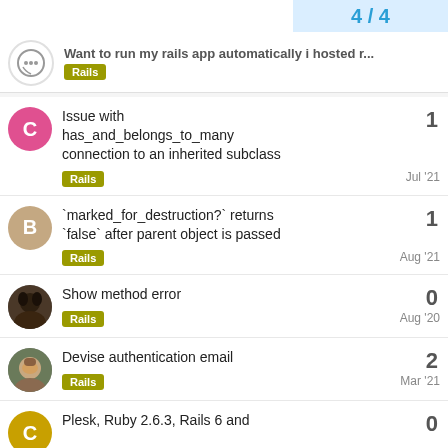4 / 4
Want to run my rails app automatically i hosted r...
Issue with has_and_belongs_to_many connection to an inherited subclass | Rails | Jul '21 | 1
`marked_for_destruction?` returns `false` after parent object is passed | Rails | Aug '21 | 1
Show method error | Rails | Aug '20 | 0
Devise authentication email | Rails | Mar '21 | 2
Plesk, Ruby 2.6.3, Rails 6 and | 0